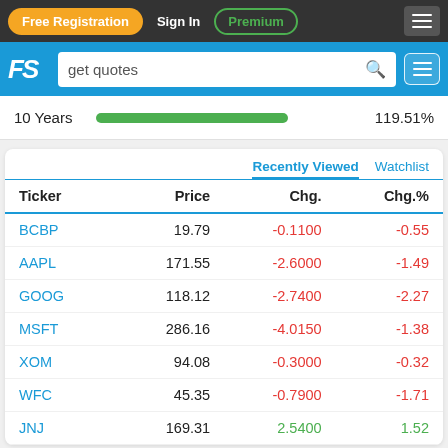Free Registration  Sign In  Premium  ≡
[Figure (screenshot): FS logo with search bar: 'get quotes']
10 Years  119.51%
| Ticker | Price | Chg. | Chg.% |
| --- | --- | --- | --- |
| BCBP | 19.79 | -0.1100 | -0.55 |
| AAPL | 171.55 | -2.6000 | -1.49 |
| GOOG | 118.12 | -2.7400 | -2.27 |
| MSFT | 286.16 | -4.0150 | -1.38 |
| XOM | 94.08 | -0.3000 | -0.32 |
| WFC | 45.35 | -0.7900 | -1.71 |
| JNJ | 169.31 | 2.5400 | 1.52 |
Search for